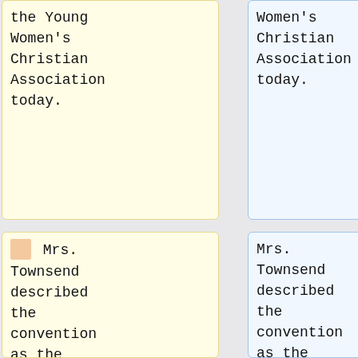the Young Women's Christian Association today.
Women's Christian Association today.
Mrs. Townsend described the convention as the greatest event in the history of the suffrage organization. "To see those 2,000 prominent women from forty-eight
Mrs. Townsend described the convention as the greatest event in the history of the suffrage organization. "To see those 2,000 prominent women from forty-eight